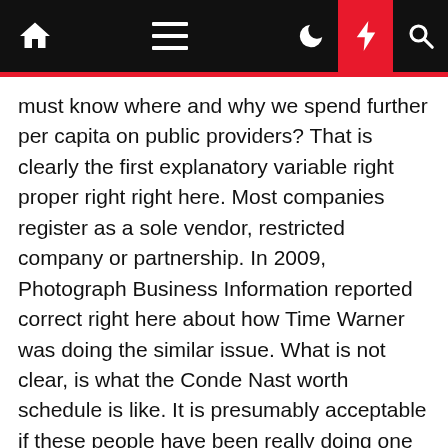[Navigation bar with home, menu, moon, bolt, search icons]
must know where and why we spend further per capita on public providers? That is clearly the first explanatory variable right proper right right here. Most companies register as a sole vendor, restricted company or partnership. In 2009, Photograph Business Information reported correct right here about how Time Warner was doing the similar issue. What is not clear, is what the Conde Nast worth schedule is like. It is presumably acceptable if these people have been really doing one factor useful with their knowledge. However they aren't. The time interval, energy, and money they're spending irritating us with information assortment schemes disguised as options inquiries is technique out of proportion to the precise utility of this info to 1 factor of worth.